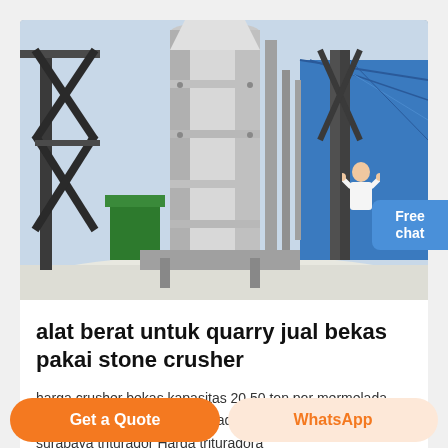[Figure (photo): Industrial stone crusher machinery at an outdoor quarry site. Large white cylindrical crusher equipment on metal scaffolding/frame, with blue tarpaulin visible in background, clear sky, and white crushed material on ground.]
alat berat untuk quarry jual bekas pakai stone crusher
harga crusher bekas kapasitas 20 50 ton por mermelada Trituradora de harga 25 toneladas de mermelada bekas surabaya triturador Harga trituradora